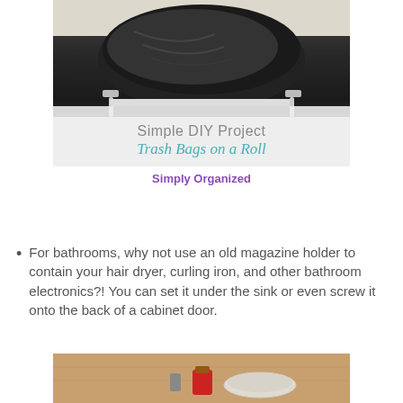[Figure (photo): A roll of black trash bags mounted on a paper towel holder. Overlaid text reads 'Simple DIY Project' and 'Trash Bags on a Roll' on a semi-transparent white background.]
Simply Organized
For bathrooms, why not use an old magazine holder to contain your hair dryer, curling iron, and other bathroom electronics?!  You can set it under the sink or even screw it onto the back of a cabinet door.
[Figure (photo): Partial view of a bottom photo showing household items on a wooden surface, partially cropped.]